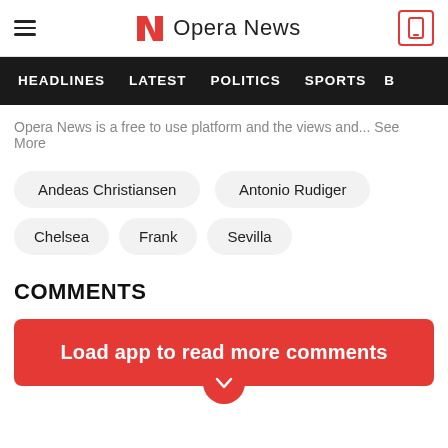Opera News
HEADLINES  LATEST  POLITICS  SPORTS
Opera News is a free to use platform and the views and... See More
Andeas Christiansen
Antonio Rudiger
Chelsea
Frank
Sevilla
COMMENTS
Load app to read more comments